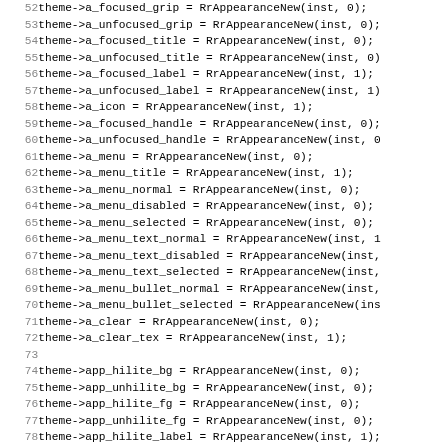Source code listing, lines 52-83, showing theme appearance initialization in C
52    theme->a_focused_grip = RrAppearanceNew(inst, 0);
53    theme->a_unfocused_grip = RrAppearanceNew(inst, 0);
54    theme->a_focused_title = RrAppearanceNew(inst, 0);
55    theme->a_unfocused_title = RrAppearanceNew(inst, 0);
56    theme->a_focused_label = RrAppearanceNew(inst, 1);
57    theme->a_unfocused_label = RrAppearanceNew(inst, 1);
58    theme->a_icon = RrAppearanceNew(inst, 1);
59    theme->a_focused_handle = RrAppearanceNew(inst, 0);
60    theme->a_unfocused_handle = RrAppearanceNew(inst, 0);
61    theme->a_menu = RrAppearanceNew(inst, 0);
62    theme->a_menu_title = RrAppearanceNew(inst, 1);
63    theme->a_menu_normal = RrAppearanceNew(inst, 0);
64    theme->a_menu_disabled = RrAppearanceNew(inst, 0);
65    theme->a_menu_selected = RrAppearanceNew(inst, 0);
66    theme->a_menu_text_normal = RrAppearanceNew(inst, 1);
67    theme->a_menu_text_disabled = RrAppearanceNew(inst, ...);
68    theme->a_menu_text_selected = RrAppearanceNew(inst, ...);
69    theme->a_menu_bullet_normal = RrAppearanceNew(inst, ...);
70    theme->a_menu_bullet_selected = RrAppearanceNew(ins...);
71    theme->a_clear = RrAppearanceNew(inst, 0);
72    theme->a_clear_tex = RrAppearanceNew(inst, 1);
73
74    theme->app_hilite_bg = RrAppearanceNew(inst, 0);
75    theme->app_unhilite_bg = RrAppearanceNew(inst, 0);
76    theme->app_hilite_fg = RrAppearanceNew(inst, 0);
77    theme->app_unhilite_fg = RrAppearanceNew(inst, 0);
78    theme->app_hilite_label = RrAppearanceNew(inst, 1);
79    theme->app_unhilite_label = RrAppearanceNew(inst, 1);
80
81    if (name) {
82        db = loaddb(theme, name);
83    if (db == NULL) {